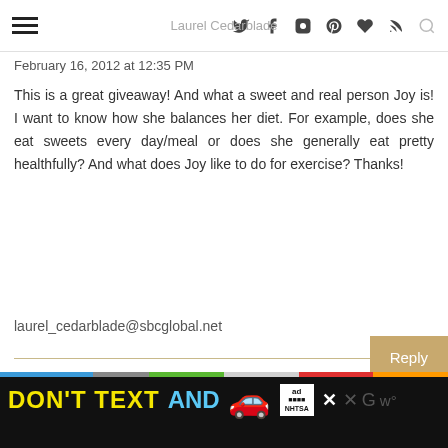Laurel Cedarblade — nav bar with social icons
February 16, 2012 at 12:35 PM
This is a great giveaway! And what a sweet and real person Joy is! I want to know how she balances her diet. For example, does she eat sweets every day/meal or does she generally eat pretty healthfully? And what does Joy like to do for exercise? Thanks!
laurel_cedarblade@sbcglobal.net
Chelsy Ethridge
February 16, 2012 at 12:38 PM
[Figure (screenshot): Advertisement banner: DON'T TEXT AND [car emoji] with NHTSA logo]